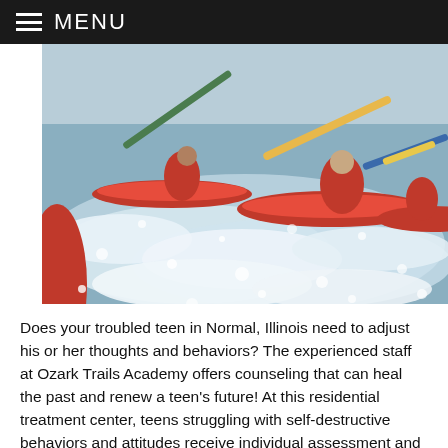≡ MENU
[Figure (photo): People kayaking in red kayaks on choppy white water, paddling with oars.]
Does your troubled teen in Normal, Illinois need to adjust his or her thoughts and behaviors? The experienced staff at Ozark Trails Academy offers counseling that can heal the past and renew a teen's future! At this residential treatment center, teens struggling with self-destructive behaviors and attitudes receive individual assessment and therapy. As our therapists identify the source of negative behaviors, your teen will learn